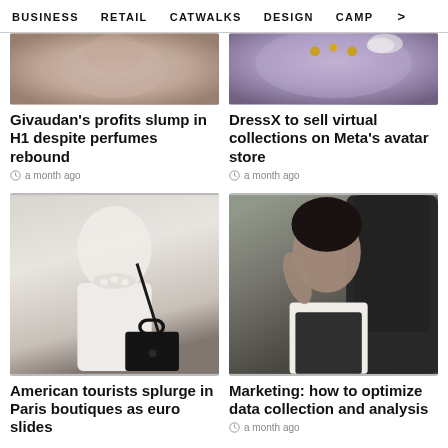BUSINESS   RETAIL   CATWALKS   DESIGN   CAMP  >
[Figure (photo): Blurred fashion photo, close-up portrait]
[Figure (photo): Purple/lavender background with gold accessories including earrings and headphones]
Givaudan's profits slump in H1 despite perfumes rebound
a month ago
DressX to sell virtual collections on Meta's avatar store
a month ago
[Figure (photo): Model in white outfit with black crossbody bag on catwalk]
[Figure (photo): Young woman in white blouse with black lace top, posing in car]
American tourists splurge in Paris boutiques as euro slides
Marketing: how to optimize data collection and analysis
a month ago